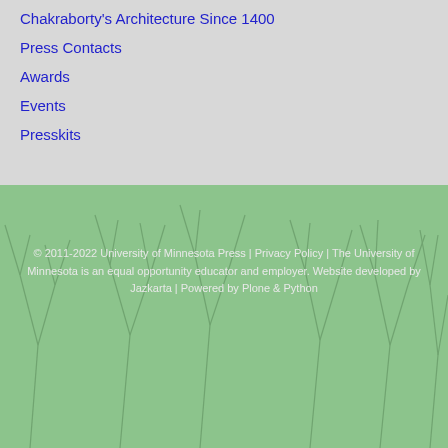Chakraborty's Architecture Since 1400
Press Contacts
Awards
Events
Presskits
© 2011-2022 University of Minnesota Press | Privacy Policy | The University of Minnesota is an equal opportunity educator and employer. Website developed by Jazkarta | Powered by Plone & Python